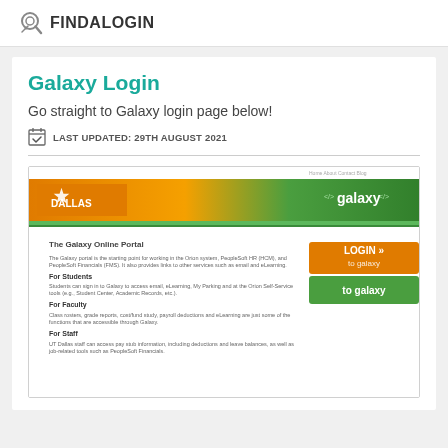FINDALOGIN
Galaxy Login
Go straight to Galaxy login page below!
LAST UPDATED: 29TH AUGUST 2021
[Figure (screenshot): Screenshot of the Galaxy Online Portal for UT Dallas showing login page with orange and green header, Dallas branding, galaxy logo, and LOGIN to galaxy button. Contains sections: The Galaxy Online Portal, For Students, For Faculty, For Staff.]